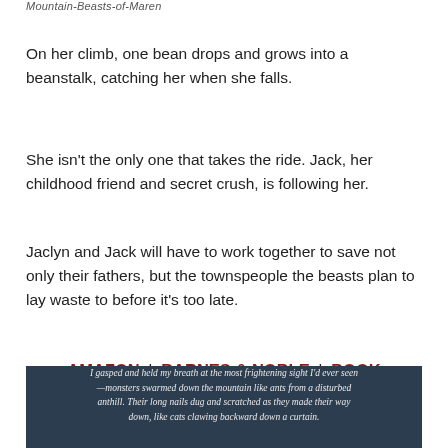MOUNTAIN-BEASTS-OF-MAREN
On her climb, one bean drops and grows into a beanstalk, catching her when she falls.
She isn't the only one that takes the ride. Jack, her childhood friend and secret crush, is following her.
Jaclyn and Jack will have to work together to save not only their fathers, but the townspeople the beasts plan to lay waste to before it's too late.
AMAZON | BARNES & NOBLE | BOOK DEPOSITORY
[Figure (photo): Dark atmospheric image with italic quote text: 'I gasped and held my breath at the most frightening sight I'd ever seen—monsters swarmed down the mountain like ants from a disturbed anthill. Their long nails dug and scratched as they made their way down, like cats clawing backward down a curtain.']